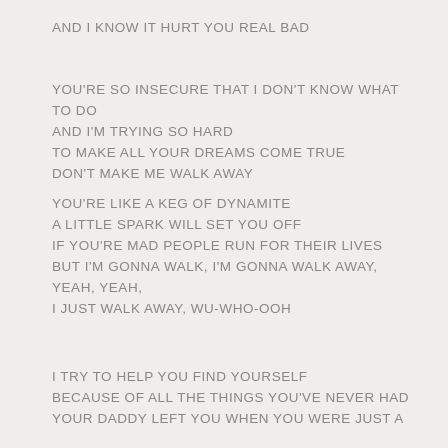AND I KNOW IT HURT YOU REAL BAD
YOU'RE SO INSECURE THAT I DON'T KNOW WHAT TO DO
AND I'M TRYING SO HARD
TO MAKE ALL YOUR DREAMS COME TRUE
DON'T MAKE ME WALK AWAY
YOU'RE LIKE A KEG OF DYNAMITE
A LITTLE SPARK WILL SET YOU OFF
IF YOU'RE MAD PEOPLE RUN FOR THEIR LIVES
BUT I'M GONNA WALK, I'M GONNA WALK AWAY,
YEAH, YEAH,
I JUST WALK AWAY, WU-WHO-OOH
I TRY TO HELP YOU FIND YOURSELF
BECAUSE OF ALL THE THINGS YOU'VE NEVER HAD
YOUR DADDY LEFT YOU WHEN YOU WERE JUST A